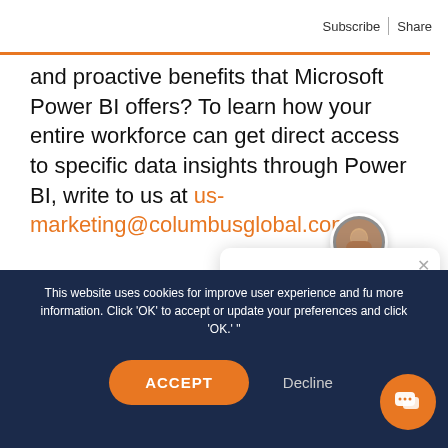Subscribe | Share
and proactive benefits that Microsoft Power BI offers? To learn how your entire workforce can get direct access to specific data insights through Power BI, write to us at us-marketing@columbusglobal.com.
[Figure (screenshot): Chat popup widget showing avatar of a person and text: Want to learn more about Columbus? I'm here to help you find your way. Can you tell me exactly what you're looking for?]
This website uses cookies for improve user experience and fu more information. Click 'OK' to accept or update your preferences and click 'OK.'"
ACCEPT   Decline